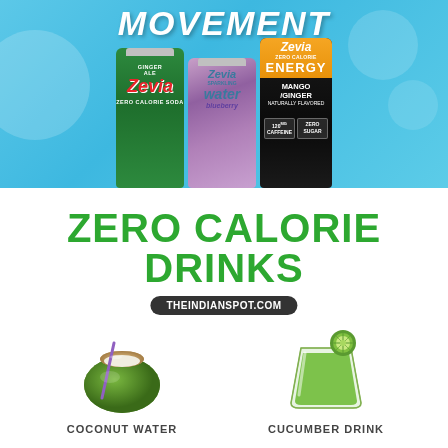[Figure (photo): Top banner with light blue background showing three Zevia drink cans: green Zero Calorie Soda (Ginger Ale), purple Sparkling Water (Blueberry), and black/orange Zero Calorie Energy (Mango/Ginger). Text 'MOVEMENT' visible at top.]
ZERO CALORIE DRINKS
THEINDIANSPOT.COM
[Figure (illustration): Green coconut with a purple straw and open top, representing coconut water]
COCONUT WATER
[Figure (illustration): Glass of green cucumber drink with a cucumber slice on top]
CUCUMBER DRINK